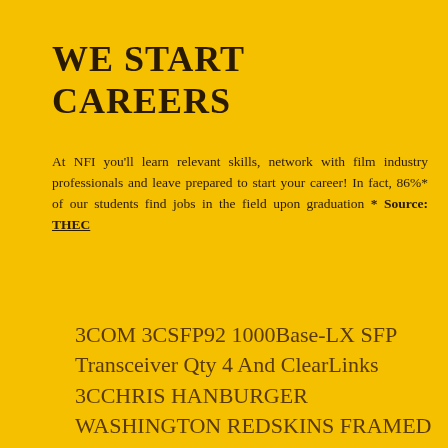WE START CAREERS
At NFI you'll learn relevant skills, network with film industry professionals and leave prepared to start your career! In fact, 86%* of our students find jobs in the field upon graduation * Source: THEC
3COM 3CSFP92 1000Base-LX SFP Transceiver Qty 4 And ClearLinks
3CCHRIS HANBURGER WASHINGTON REDSKINS FRAMED
FRAME KIT 4 YOUR 8X10ACEO Original Graffiti Art Card Giraffe Face
Cute Animal MiniatuMSRP $68 Reebok